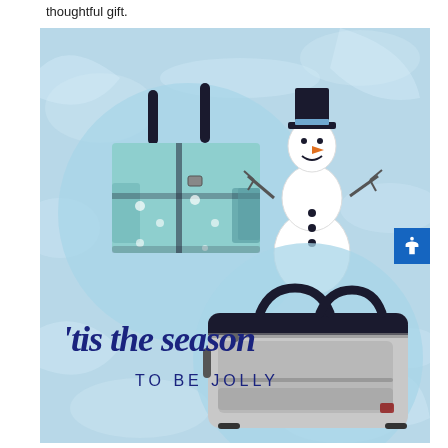thoughtful gift.
[Figure (photo): Winter holiday promotional image with light blue icy background. Top left: a large tote bag with snowman print pattern on a blue circle background. Top right: a cartoon snowman illustration with black top hat. Bottom left: cursive text reading 'tis the season' in dark navy blue, with 'TO BE JOLLY' below in small caps. Bottom right: a grey/silver duffel bag on a blue circle background. An accessibility icon button appears on the right edge.]